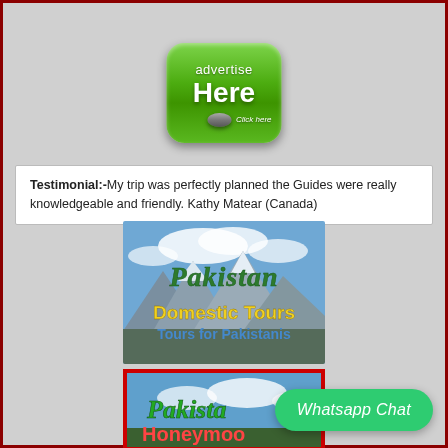[Figure (illustration): Green rounded square button with 'advertise Here Click here' text and a small disc graphic at the bottom]
Testimonial:-My trip was perfectly planned the Guides were really knowledgeable and friendly. Kathy Matear (Canada)
[Figure (photo): Pakistan Domestic Tours - Tours for Pakistanis banner with mountain landscape background, italic green 'Pakistan' text, yellow 'Domestic Tours' and blue 'Tours for Pakistanis']
[Figure (photo): Pakistan Honeymoon partial banner with red border, green and white text, blue sky background]
Whatsapp Chat